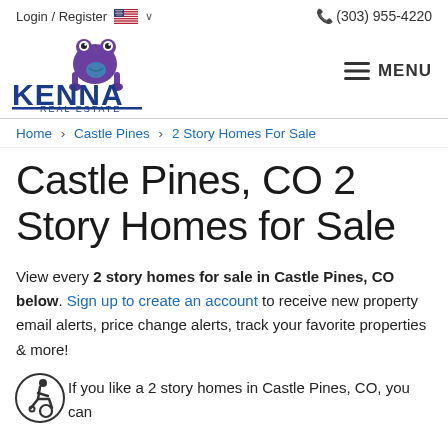Login / Register  🇺🇸 ∨   📞 (303) 955-4220
[Figure (logo): Kenna Real Estate logo with purple frog mascot]
Home > Castle Pines > 2 Story Homes For Sale
Castle Pines, CO 2 Story Homes for Sale
View every 2 story homes for sale in Castle Pines, CO below. Sign up to create an account to receive new property email alerts, price change alerts, track your favorite properties & more!
[Figure (illustration): Accessibility icon - person in wheelchair]
If you like a 2 story homes in Castle Pines, CO, you can